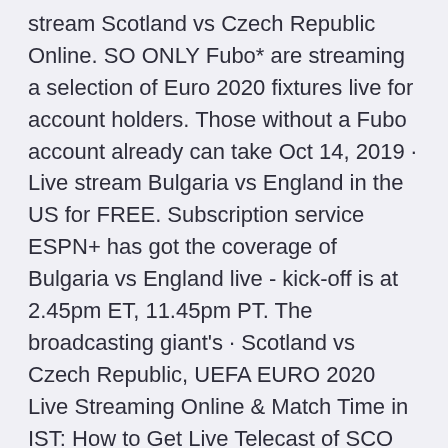stream Scotland vs Czech Republic Online. SO ONLY Fubo* are streaming a selection of Euro 2020 fixtures live for account holders. Those without a Fubo account already can take Oct 14, 2019 · Live stream Bulgaria vs England in the US for FREE. Subscription service ESPN+ has got the coverage of Bulgaria vs England live - kick-off is at 2.45pm ET, 11.45pm PT. The broadcasting giant's · Scotland vs Czech Republic, UEFA EURO 2020 Live Streaming Online & Match Time in IST: How to Get Live Telecast of SCO vs CZR on TV & Free Football Score Updates in India. Czech Republic, on the other hand, have been struggling with consistency.